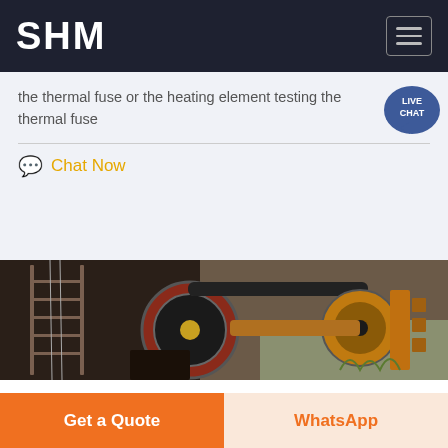SHM
the thermal fuse or the heating element testing the thermal fuse
Chat Now
[Figure (photo): Industrial mining machinery showing large belt-driven pulleys and wheels, rusty metal equipment with ladder structure in background, outdoors on gravel]
Get a Quote
WhatsApp